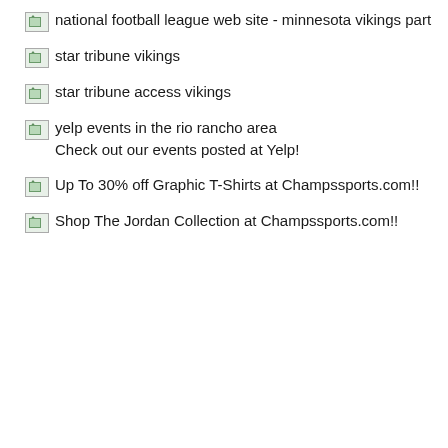national football league web site - minnesota vikings part
star tribune vikings
star tribune access vikings
yelp events in the rio rancho area
Check out our events posted at Yelp!
Up To 30% off Graphic T-Shirts at Champssports.com!!
Shop The Jordan Collection at Champssports.com!!
twasabletoretur ntoplaying t